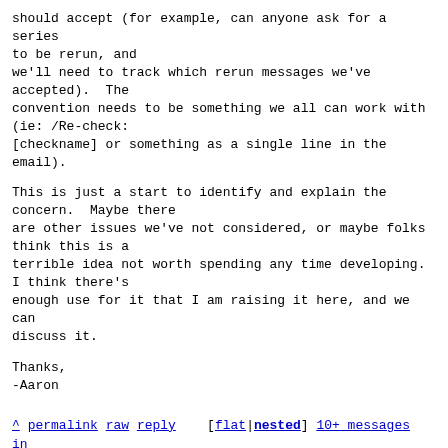should accept (for example, can anyone ask for a series
to be rerun, and
we'll need to track which rerun messages we've
accepted).  The
convention needs to be something we all can work with
(ie: /Re-check:
[checkname] or something as a single line in the
email).
This is just a start to identify and explain the
concern.  Maybe there
are other issues we've not considered, or maybe folks
think this is a
terrible idea not worth spending any time developing.
I think there's
enough use for it that I am raising it here, and we can
discuss it.
Thanks,
-Aaron
^ permalink raw reply    [flat|nested] 10+ messages in
thread
* Re: [dpdk-ci] [RFC] Proposal for allowing rerun of tests
2021-04-13 13:50 [dpdk-ci] [RFC] Proposal for allowing rerun of tests Aaron Conole
@ 2021-04-13 14:47 ` Thomas Monjalon